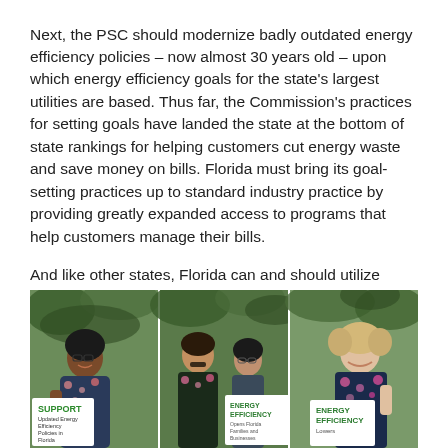Next, the PSC should modernize badly outdated energy efficiency policies – now almost 30 years old – upon which energy efficiency goals for the state's largest utilities are based. Thus far, the Commission's practices for setting goals have landed the state at the bottom of state rankings for helping customers cut energy waste and save money on bills. Florida must bring its goal-setting practices up to standard industry practice by providing greatly expanded access to programs that help customers manage their bills.
And like other states, Florida can and should utilize efficiency as a preferred energy resource to reduce our reliance on risky price fossil gas to generate electricity.
[Figure (photo): Three-panel composite photo of people holding signs about energy efficiency. Left panel: person smiling holding a sign reading 'SUPPORT Updated Energy Efficiency Policies in Florida'. Middle panel: two people, one holding a sign that says 'ENERGY EFFICIENCY'. Right panel: older woman smiling holding a sign reading 'ENERGY EFFICIENCY Lowers'.]